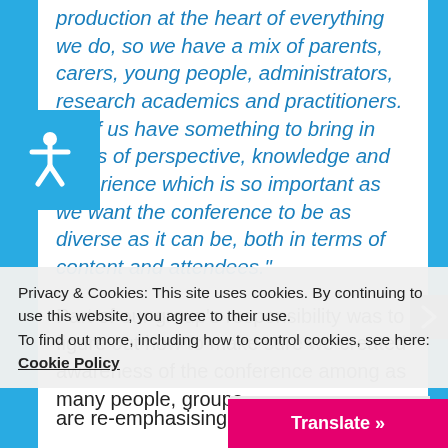production at the heart of everything we do, so we have a mix of parents, carers, young people, administrators, research academics and practitioners. All of us have something to bring in terms of perspective, knowledge and experience which is so important as we want the conference to be as diverse as it can be, both in terms of content and attendees.”
Part of our group’s responsibility was to figure out how to make sure we created awareness of the conference among as many people, groups...
Privacy & Cookies: This site uses cookies. By continuing to use this website, you agree to their use.
To find out more, including how to control cookies, see here:
Cookie Policy
Close and accept
Translate »
are re-emphasising how we can ma...